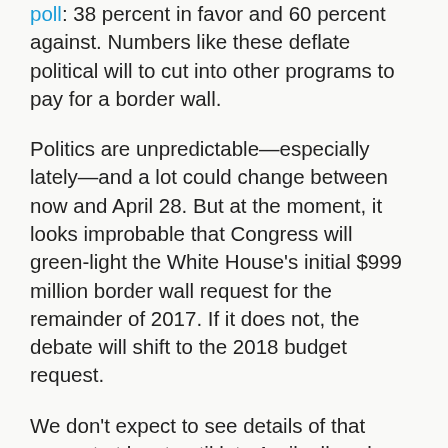poll: 38 percent in favor and 60 percent against. Numbers like these deflate political will to cut into other programs to pay for a border wall.
Politics are unpredictable—especially lately—and a lot could change between now and April 28. But at the moment, it looks improbable that Congress will green-light the White House's initial $999 million border wall request for the remainder of 2017. If it does not, the debate will shift to the 2018 budget request.
We don't expect to see details of that request at least until late April; all we know for now is that the border wall portion is $2.6 billion. Once it is submitted, congressional Appropriations Committees will get to work on it during the summer, and—at least, if 2017 ends up looking